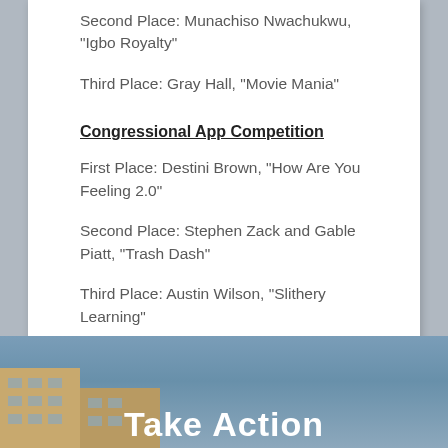Second Place: Munachiso Nwachukwu, "Igbo Royalty"
Third Place: Gray Hall, "Movie Mania"
Congressional App Competition
First Place: Destini Brown, "How Are You Feeling 2.0"
Second Place: Stephen Zack and Gable Piatt, "Trash Dash"
Third Place: Austin Wilson, "Slithery Learning"
[Figure (photo): Exterior photo of a building with blue sky background, partially visible at the bottom of the page, with large white bold text 'Take Action' overlaid]